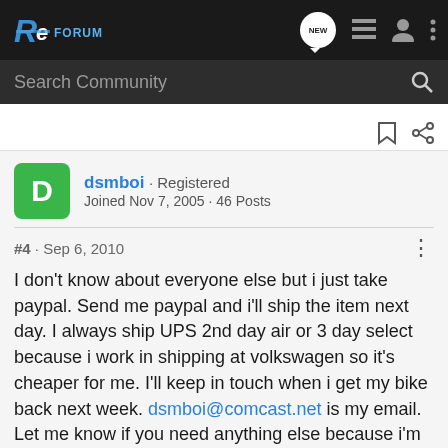RC Forum navigation bar with logo, NEW chat bubble, list icon, user icon, more options icon
Search Community
dsmboi · Registered
Joined Nov 7, 2005 · 46 Posts
#4 · Sep 6, 2010
I don't know about everyone else but i just take paypal. Send me paypal and i'll ship the item next day. I always ship UPS 2nd day air or 3 day select because i work in shipping at volkswagen so it's cheaper for me. I'll keep in touch when i get my bike back next week. dsmboi@comcast.net is my email. Let me know if you need anything else because i'm converting this bike to a race bike. It also has rear integrated brake light/turn signals and a puig double bubble.